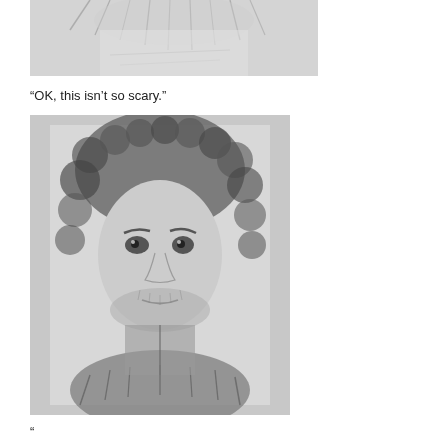[Figure (illustration): Pencil sketch portrait drawing, partial view showing top of head with hair, faded/light sketch]
“OK, this isn’t so scary.”
[Figure (illustration): Pencil sketch portrait of a young man with curly hair and beard wearing a fur-collared coat, detailed realistic drawing]
“